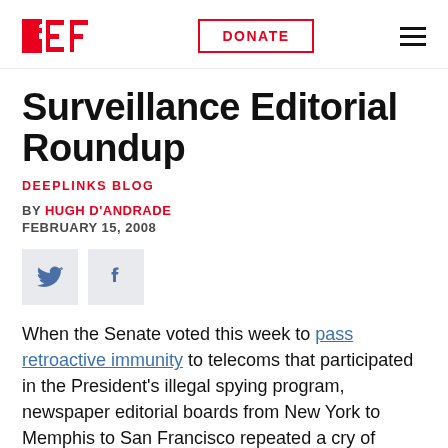EFF | DONATE | Menu
Surveillance Editorial Roundup
DEEPLINKS BLOG
BY HUGH D'ANDRADE
FEBRUARY 15, 2008
[Figure (other): Twitter and Facebook social share icons]
When the Senate voted this week to pass retroactive immunity to telecoms that participated in the President's illegal spying program, newspaper editorial boards from New York to Memphis to San Francisco repeated a cry of outrage